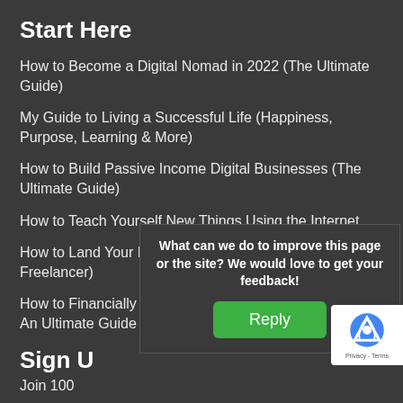Start Here
How to Become a Digital Nomad in 2022 (The Ultimate Guide)
My Guide to Living a Successful Life (Happiness, Purpose, Learning & More)
How to Build Passive Income Digital Businesses (The Ultimate Guide)
How to Teach Yourself New Things Using the Internet
How to Land Your Dream Remote Job (Or Become a Freelancer)
How to Financially Retire Before You Turn 30 (FIRE) – An Ultimate Guide
Sign U
Join 100
What can we do to improve this page or the site? We would love to get your feedback!
Reply